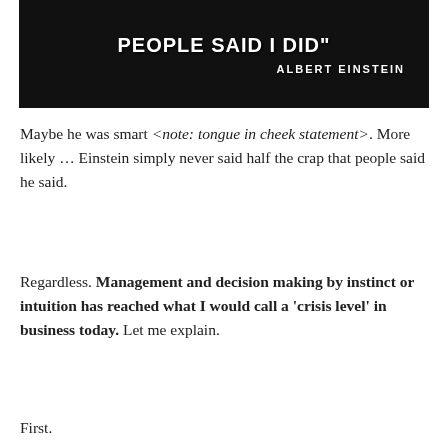[Figure (photo): Black and white image with bold white text showing a partial quote 'I NEVER SAID HALF THE CRAP PEOPLE SAID I DID"' attributed to ALBERT EINSTEIN]
Maybe he was smart <note: tongue in cheek statement>. More likely … Einstein simply never said half the crap that people said he said.
Regardless. Management and decision making by instinct or intuition has reached what I would call a 'crisis level' in business today. Let me explain.
First.